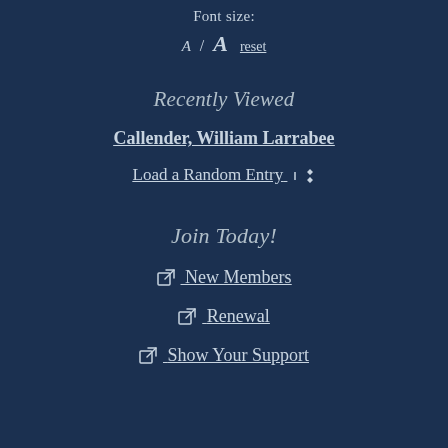Font size:
A / A  reset
Recently Viewed
Callender, William Larrabee
Load a Random Entry
Join Today!
New Members
Renewal
Show Your Support